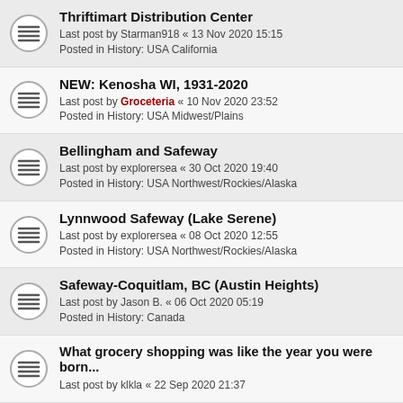Thriftimart Distribution Center
Last post by Starman918 « 13 Nov 2020 15:15
Posted in History: USA California
NEW: Kenosha WI, 1931-2020
Last post by Groceteria « 10 Nov 2020 23:52
Posted in History: USA Midwest/Plains
Bellingham and Safeway
Last post by explorersea « 30 Oct 2020 19:40
Posted in History: USA Northwest/Rockies/Alaska
Lynnwood Safeway (Lake Serene)
Last post by explorersea « 08 Oct 2020 12:55
Posted in History: USA Northwest/Rockies/Alaska
Safeway-Coquitlam, BC (Austin Heights)
Last post by Jason B. « 06 Oct 2020 05:19
Posted in History: Canada
What grocery shopping was like the year you were born...
Last post by klkla « 22 Sep 2020 21:37